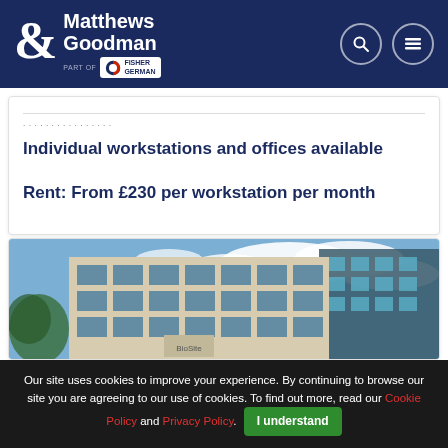Matthews Goodman — part of Fisher German
Individual workstations and offices available
Rent: From £230 per workstation per month
[Figure (photo): Exterior photo of a modern multi-storey office building with glass facades and cream stonework under a cloudy blue sky]
Our site uses cookies to improve your experience. By continuing to browse our site you are agreeing to our use of cookies. To find out more, read our Cookie Policy and Privacy Policy. I understand